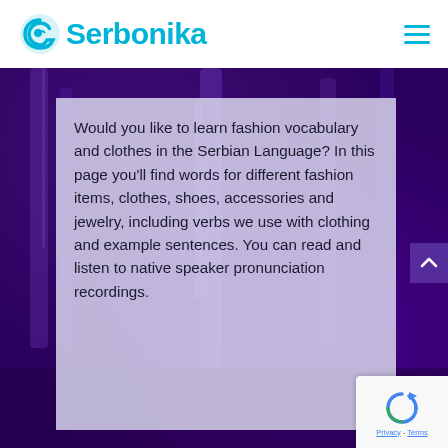Serbonika
[Figure (photo): Purple-toned fashion photo background with clothing items visible]
Would you like to learn fashion vocabulary and clothes in the Serbian Language? In this page you'll find words for different fashion items, clothes, shoes, accessories and jewelry, including verbs we use with clothing and example sentences. You can read and listen to native speaker pronunciation recordings.
[Figure (logo): Google reCAPTCHA badge with Privacy and Terms links]